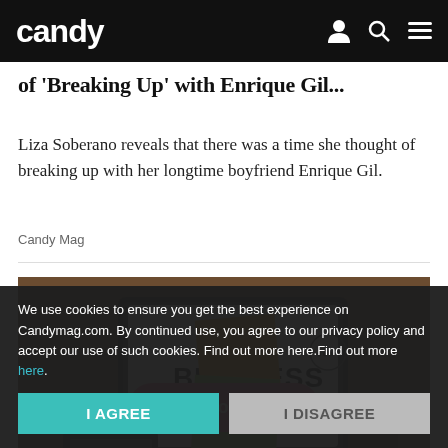candy
of 'Breaking Up' with Enrique Gil...
Liza Soberano reveals that there was a time she thought of breaking up with her longtime boyfriend Enrique Gil.
Candy Mag
[Figure (photo): Photo of a laptop screen displaying the word BUSINESS with sticky notes and business icons, overlaid with a pink 'Read on App' button]
We use cookies to ensure you get the best experience on Candymag.com. By continued use, you agree to our privacy policy and accept our use of such cookies. Find out more here.Find out more here.
I AGREE
I DISAGREE